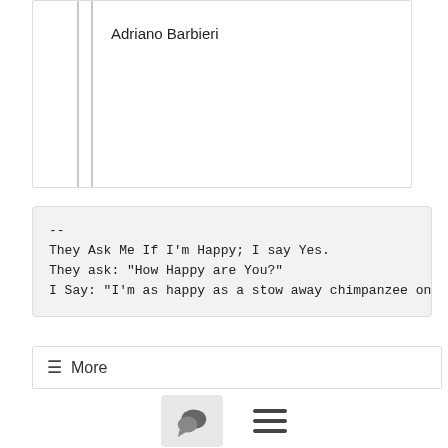Adriano Barbieri
--
They Ask Me If I'm Happy; I say Yes.
They ask: "How Happy are You?"
I Say: "I'm as happy as a stow away chimpanzee on a
☰ More
View All 15 Messages In Topic